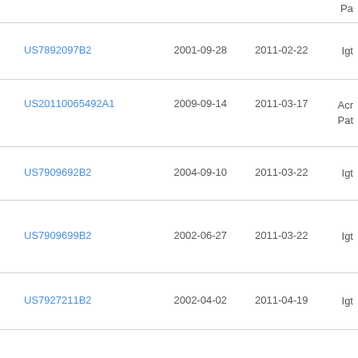| Publication number | Filing date | Publication date | Assignee |
| --- | --- | --- | --- |
| US7892097B2 | 2001-09-28 | 2011-02-22 | Igt |
| US20110065492A1 | 2009-09-14 | 2011-03-17 | Acr Pat |
| US7909692B2 | 2004-09-10 | 2011-03-22 | Igt |
| US7909699B2 | 2002-06-27 | 2011-03-22 | Igt |
| US7927211B2 | 2002-04-02 | 2011-04-19 | Igt |